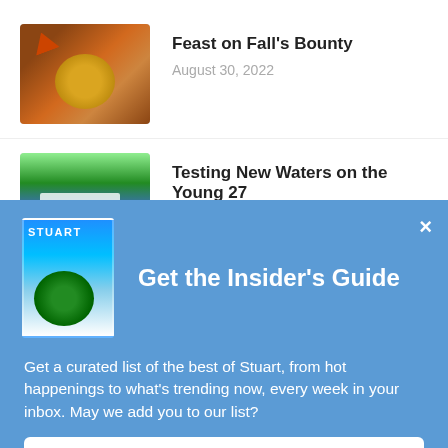[Figure (photo): Thumbnail of autumn soup in a yellow bowl with fall leaves on a wooden table]
Feast on Fall's Bounty
August 30, 2022
[Figure (photo): Thumbnail of a boat on water with green trees and a white structure]
Testing New Waters on the Young 27
[Figure (illustration): Stuart magazine cover with underwater scene]
Get the Insider's Guide
Get a curated list of the best of Stuart, from hot happenings to what's trending now, every week in your inbox. May we add you to our list?
Sign Me Up!